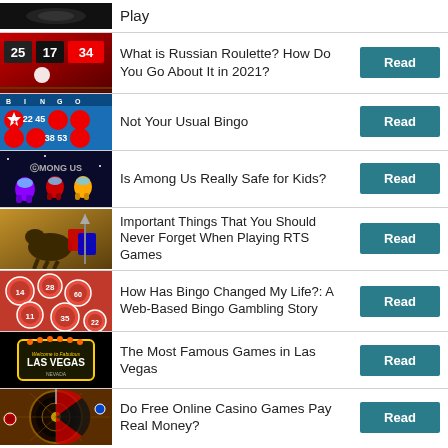Play
What is Russian Roulette? How Do You Go About It in 2021?
Not Your Usual Bingo
Is Among Us Really Safe for Kids?
Important Things That You Should Never Forget When Playing RTS Games
How Has Bingo Changed My Life?: A Web-Based Bingo Gambling Story
The Most Famous Games in Las Vegas
Do Free Online Casino Games Pay Real Money?